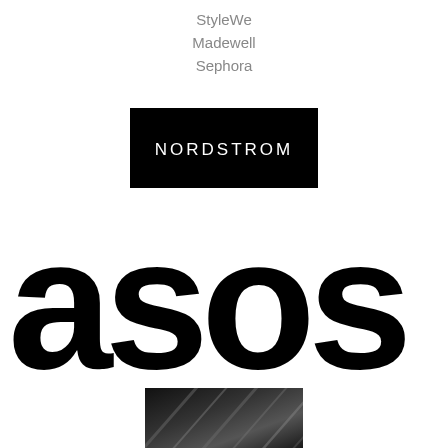StyleWe
Madewell
Sephora
[Figure (logo): Nordstrom logo: white text 'NORDSTROM' on black rectangle background]
[Figure (logo): ASOS logo: large bold black lowercase letters 'asos' on white background]
[Figure (photo): Partial photo showing dark fabric with shiny/metallic texture, cropped at bottom of page]